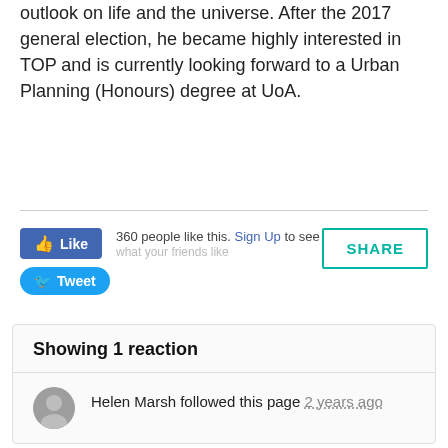outlook on life and the universe. After the 2017 general election, he became highly interested in TOP and is currently looking forward to a Urban Planning (Honours) degree at UoA.
[Figure (screenshot): Facebook Like button and Tweet button with social share area showing '360 people like this. Sign Up to see what your friends like' and a teal SHARE button]
Showing 1 reaction
Helen Marsh followed this page 2 years ago